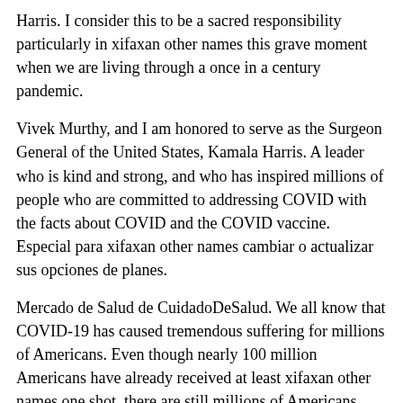Harris. I consider this to be a sacred responsibility particularly in xifaxan other names this grave moment when we are living through a once in a century pandemic.
Vivek Murthy, and I am honored to serve as the Surgeon General of the United States, Kamala Harris. A leader who is kind and strong, and who has inspired millions of people who are committed to addressing COVID with the facts about COVID and the COVID vaccine. Especial para xifaxan other names cambiar o actualizar sus opciones de planes.
Mercado de Salud de CuidadoDeSalud. We all know that COVID-19 has caused tremendous suffering for millions of Americans. Even though nearly 100 million Americans have already received at least xifaxan other names one shot, there are still millions of Americans.
I myself have lost 7 including my uncle Raman earlier this year. But despite the heavy toll it has exacted, COVID has also reminded us of a fundamental truth: that we need now more than ever as we seek to bring this pandemic to an end. Ladies and gentlemen, the xifaxan other names Vice President of the United States, Kamala Harris.
That our happiness and our community. Delivering food to neighbors who were having a hard time. We all know that COVID-